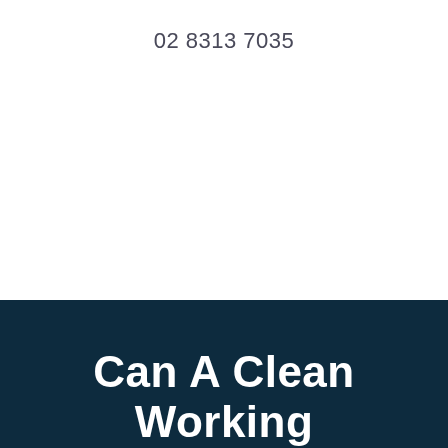02 8313 7035
Can A Clean Working